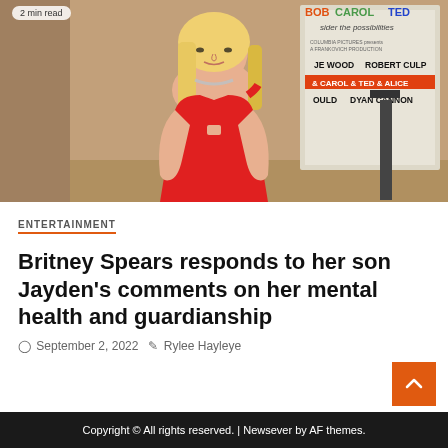[Figure (photo): Photo of Britney Spears wearing a red one-shoulder dress and silver necklace, standing in front of a movie poster backdrop]
ENTERTAINMENT
Britney Spears responds to her son Jayden's comments on her mental health and guardianship
September 2, 2022  Rylee Hayleye
Copyright © All rights reserved. | Newsever by AF themes.